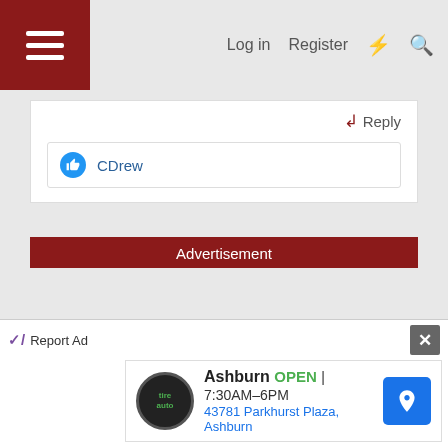Log in  Register
Reply
CDrew
Advertisement
Report Ad
Ashburn  OPEN | 7:30AM–6PM
43781 Parkhurst Plaza, Ashburn